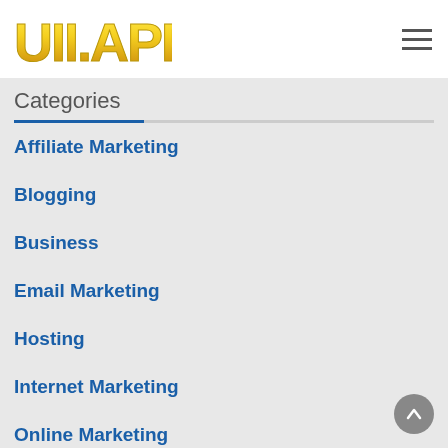UII.APP
Categories
Affiliate Marketing
Blogging
Business
Email Marketing
Hosting
Internet Marketing
Online Marketing
Social Media
Tecknology